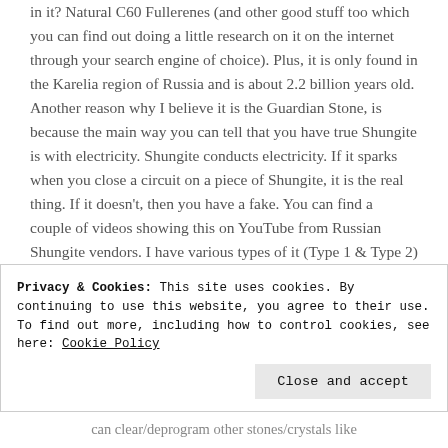in it? Natural C60 Fullerenes (and other good stuff too which you can find out doing a little research on it on the internet through your search engine of choice). Plus, it is only found in the Karelia region of Russia and is about 2.2 billion years old. Another reason why I believe it is the Guardian Stone, is because the main way you can tell that you have true Shungite is with electricity. Shungite conducts electricity. If it sparks when you close a circuit on a piece of Shungite, it is the real thing. If it doesn't, then you have a fake. You can find a couple of videos showing this on YouTube from Russian Shungite vendors. I have various types of it (Type 1 & Type 2) and have found it to be many things, including...
Privacy & Cookies: This site uses cookies. By continuing to use this website, you agree to their use.
To find out more, including how to control cookies, see here: Cookie Policy
can clear/deprogram other stones/crystals like